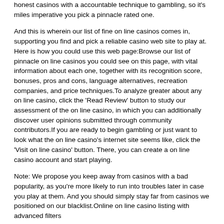honest casinos with a accountable technique to gambling, so it's miles imperative you pick a pinnacle rated one.
And this is wherein our list of fine on line casinos comes in, supporting you find and pick a reliable casino web site to play at. Here is how you could use this web page:Browse our list of pinnacle on line casinos you could see on this page, with vital information about each one, together with its recognition score, bonuses, pros and cons, language alternatives, recreation companies, and price techniques.To analyze greater about any on line casino, click the 'Read Review' button to study our assessment of the on line casino, in which you can additionally discover user opinions submitted through community contributors.If you are ready to begin gambling or just want to look what the on line casino's internet site seems like, click the 'Visit on line casino' button. There, you can create a on line casino account and start playing.
Note: We propose you keep away from casinos with a bad popularity, as you're more likely to run into troubles later in case you play at them. And you should simply stay far from casinos we positioned on our blacklist.Online on line casino listing with advanced filters
To assist you discover the quality on line casino web sites for you, sense unfastened to use our superior filters. These can can help you limit the selection of on-line casinos to most effective those who meet your unique criteria, consisting of imparting games of a particular kind or from a specific recreation issuer, assisting your selected fee method, and so on.